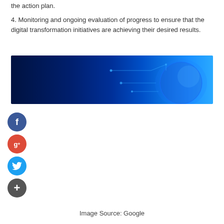the action plan.
4. Monitoring and ongoing evaluation of progress to ensure that the digital transformation initiatives are achieving their desired results.
[Figure (photo): Dark blue technology banner with a glowing digital globe and circuit lines on the right side against a deep navy background.]
[Figure (infographic): Social media share buttons: Facebook (blue circle with 'f'), Google+ (red circle with 'g+'), Twitter (cyan circle with bird icon), and a dark grey circle with '+' for more sharing options.]
Image Source: Google